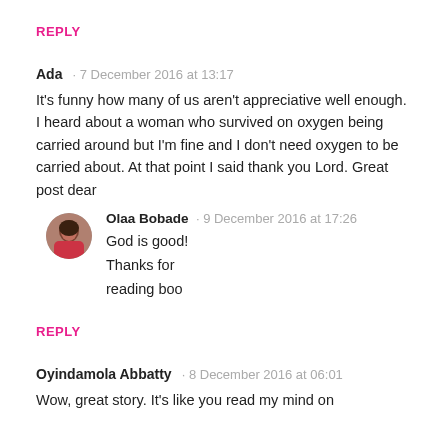REPLY
Ada · 7 December 2016 at 13:17
It's funny how many of us aren't appreciative well enough. I heard about a woman who survived on oxygen being carried around but I'm fine and I don't need oxygen to be carried about. At that point I said thank you Lord. Great post dear
[Figure (photo): Circular avatar photo of Olaa Bobade]
Olaa Bobade · 9 December 2016 at 17:26
God is good!
Thanks for
reading boo
REPLY
Oyindamola Abbatty · 8 December 2016 at 06:01
Wow, great story. It's like you read my mind on